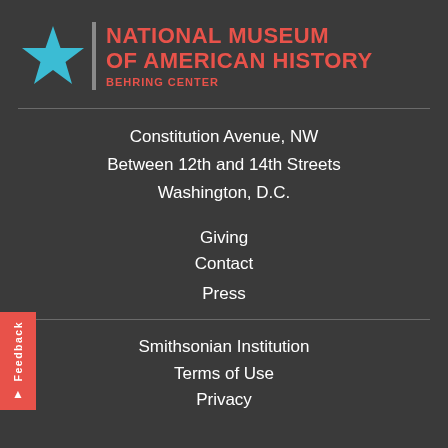[Figure (logo): National Museum of American History Behring Center logo with a cyan/blue star, a vertical gray bar, and red bold text reading NATIONAL MUSEUM OF AMERICAN HISTORY BEHRING CENTER]
Constitution Avenue, NW
Between 12th and 14th Streets
Washington, D.C.
Giving
Contact
Press
Smithsonian Institution
Terms of Use
Privacy